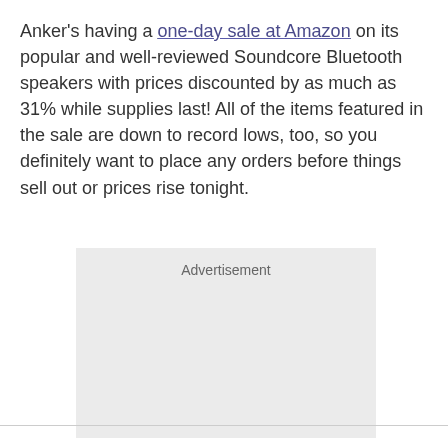Anker's having a one-day sale at Amazon on its popular and well-reviewed Soundcore Bluetooth speakers with prices discounted by as much as 31% while supplies last! All of the items featured in the sale are down to record lows, too, so you definitely want to place any orders before things sell out or prices rise tonight.
[Figure (other): Advertisement placeholder box with light gray background and 'Advertisement' label at top center]